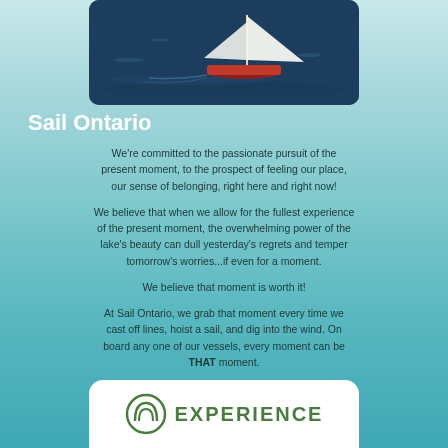[Figure (photo): Aerial view of a sailboat with white sails on dark blue water, viewed from above]
Sail Ontario
We're committed to the passionate pursuit of the present moment, to the prospect of feeling our place, our sense of belonging, right here and right now!
We believe that when we allow for the fullest experience of the present moment, the overwhelming power of the lake's beauty can dull yesterday's regrets and temper tomorrow's worries...if even for a moment.
We believe that moment is worth it!
At Sail Ontario, we grab that moment every time we cast off lines, hoist a sail, and dig into the wind. On board any one of our vessels, every moment can be THAT moment.
Whether Captained Charters, Sailing Lessons, or Sailboat Rentals, Sail Ontario is THE place to find THAT MOMENT!
[Figure (logo): Experience logo with circular mountain/arch icon and the word EXPERIENCE in green letters]